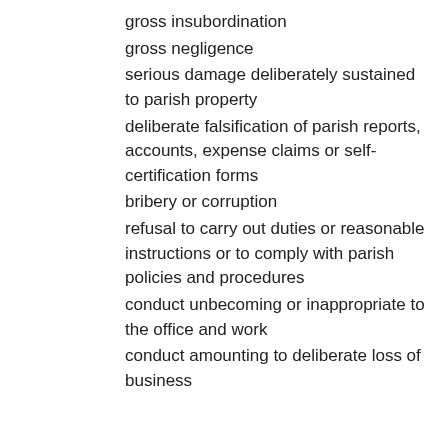gross insubordination
gross negligence
serious damage deliberately sustained to parish property
deliberate falsification of parish reports, accounts, expense claims or self-certification forms
bribery or corruption
refusal to carry out duties or reasonable instructions or to comply with parish policies and procedures
conduct unbecoming or inappropriate to the office and work
conduct amounting to deliberate loss of business